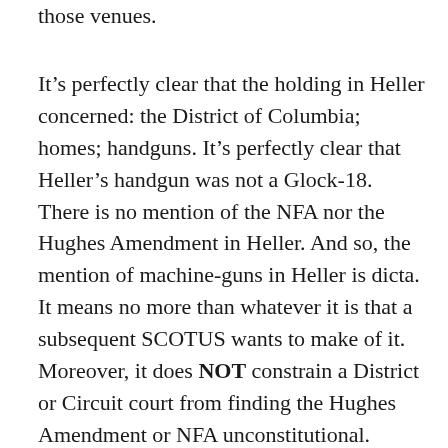those venues.
It's perfectly clear that the holding in Heller concerned: the District of Columbia; homes; handguns. It's perfectly clear that Heller's handgun was not a Glock-18. There is no mention of the NFA nor the Hughes Amendment in Heller. And so, the mention of machine-guns in Heller is dicta. It means no more than whatever it is that a subsequent SCOTUS wants to make of it. Moreover, it does NOT constrain a District or Circuit court from finding the Hughes Amendment or NFA unconstitutional. Judges at lower levels are free to thumb-their-noses at this dicta. (Not that I'm predicting that they will do so; merely that